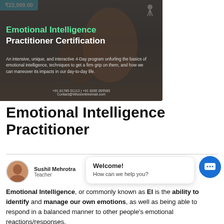[Figure (photo): Promotional banner for Emotional Intelligence Practitioner Certification course. Shows a dark background with people in a training session. Price tag ₹22,999.00 in top left cyan bar. Logo top right. Green bold text 'Emotional Intelligence' and white bold 'Practitioner Certification'. Description text and contact details at bottom.]
Emotional Intelligence Practitioner
Sushil Mehrotra
Teacher
Welcome!
How can we help you?
Emotional Intelligence, or commonly known as EI is the ability to identify and manage our own emotions, as well as being able to respond in a balanced manner to other people's emotional reactions/responses.